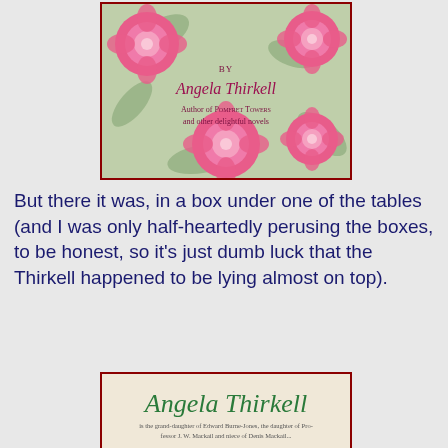[Figure (photo): Book cover of an Angela Thirkell novel showing pink roses on a green background with text 'BY Angela Thirkell Author of Pomfret Towers and other delightful novels']
But there it was, in a box under one of the tables (and I was only half-heartedly perusing the boxes, to be honest, so it's just dumb luck that the Thirkell happened to be lying almost on top).
[Figure (photo): Partial book cover or dust jacket showing 'Angela Thirkell' in green italic script with small text beneath reading 'is the grand-daughter of Edward Burne-Jones, the daughter of Pro-[fessor] J. W. Mackail and [niece of Denis Mackail?]']